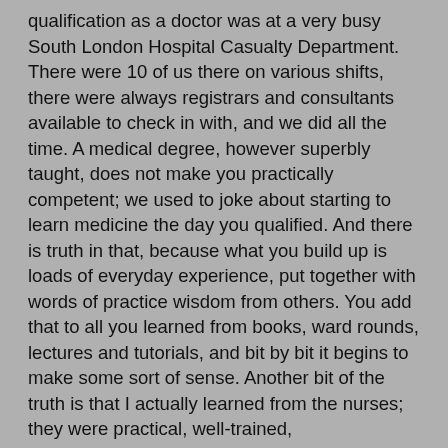qualification as a doctor was at a very busy South London Hospital Casualty Department. There were 10 of us there on various shifts, there were always registrars and consultants available to check in with, and we did all the time. A medical degree, however superbly taught, does not make you practically competent; we used to joke about starting to learn medicine the day you qualified. And there is truth in that, because what you build up is loads of everyday experience, put together with words of practice wisdom from others. You add that to all you learned from books, ward rounds, lectures and tutorials, and bit by bit it begins to make some sort of sense. Another bit of the truth is that I actually learned from the nurses; they were practical, well-trained, knowledgeable, had a very active hierarchy, regular discussions of cases, and knew what all the equipment and bandages were called. So Jan and I looked at one another, and while I as getting worse as far as symptoms are concerned, we just trusted that the system would sort it out. At one point a urine specimen was asked for, so I leaned on Jan's shoulder, and with an ataxic foot that would not go in the right direction, we found a toilet and she held me up while a peed in the bottle. OK, that bit still worked, but generally on the way back to